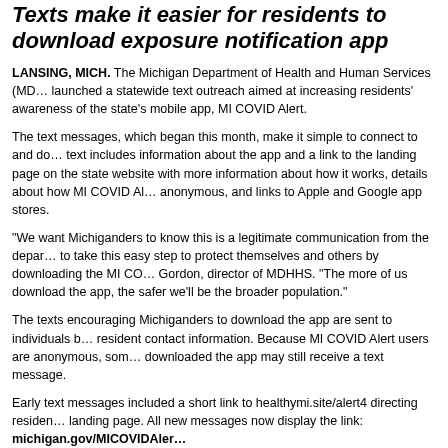Texts make it easier for residents to download exposure notification app
LANSING, MICH. The Michigan Department of Health and Human Services (MDHHS) launched a statewide text outreach aimed at increasing residents' awareness of the state's mobile app, MI COVID Alert.
The text messages, which began this month, make it simple to connect to and download. The text includes information about the app and a link to the landing page on the state website with more information about how it works, details about how MI COVID Alert is anonymous, and links to Apple and Google app stores.
“We want Michiganders to know this is a legitimate communication from the department and to take this easy step to protect themselves and others by downloading the MI COVID Alert app,” said Gordon, director of MDHHS. “The more of us download the app, the safer we’ll be—for ourselves and the broader population.”
The texts encouraging Michiganders to download the app are sent to individuals based on resident contact information. Because MI COVID Alert users are anonymous, some who have already downloaded the app may still receive a text message.
Early text messages included a short link to healthymi.site/alert4 directing residents to the landing page. All new messages now display the link: michigan.gov/MICOVIDAlert
The no cost, easy-to-use, anonymous app has been downloaded nearly half a million times, which represents a little more than 9.5% of 18- to 64-year-olds in Michigan—in the initial launch. Oxford researchers found that when just 15% of a population used an exposure notification app...